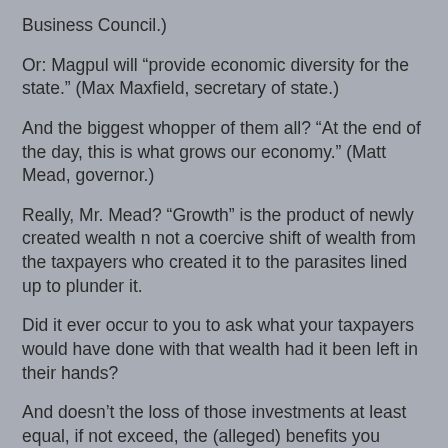Business Council.)
Or: Magpul will “provide economic diversity for the state.” (Max Maxfield, secretary of state.)
And the biggest whopper of them all? “At the end of the day, this is what grows our economy.” (Matt Mead, governor.)
Really, Mr. Mead? “Growth” is the product of newly created wealth n not a coercive shift of wealth from the taxpayers who created it to the parasites lined up to plunder it.
Did it ever occur to you to ask what your taxpayers would have done with that wealth had it been left in their hands?
And doesn’t the loss of those investments at least equal, if not exceed, the (alleged) benefits you believe are derived from handing it to those who didn’t earn it instead?
This, ladies and gentlemen, is what passes for intellectual acumen, political “leadership” and “economic development” today. And it is precisely this idea that government can ever